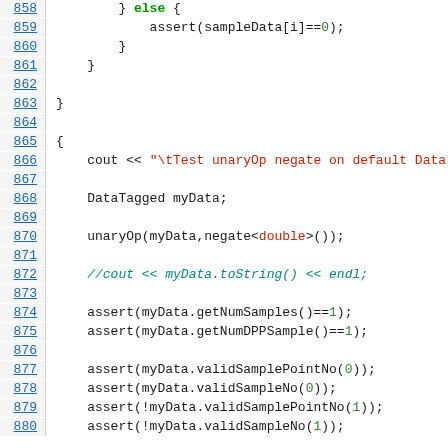[Figure (screenshot): Source code viewer showing C++ code lines 858-879+, with line numbers on the left in blue underlined style, and syntax-highlighted code on the right. Keywords in green, strings in red, comments in teal italic, numeric literals in green.]